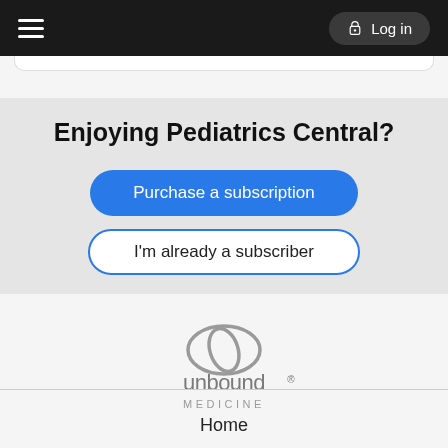Log in
Enjoying Pediatrics Central?
Purchase a subscription
I'm already a subscriber
[Figure (logo): Unbound Medicine logo — stylized oval with lowercase 'unbound' and 'MEDICINE' text]
Home